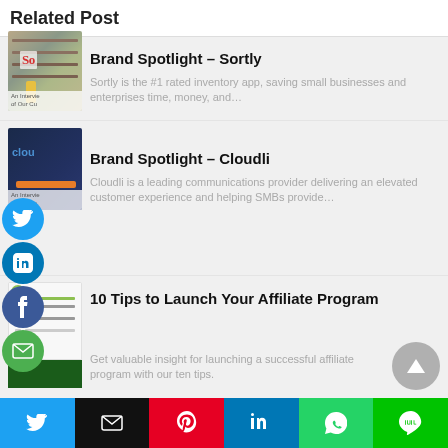Related Post
[Figure (photo): Warehouse interior with shelving and a worker]
Brand Spotlight – Sortly
Sortly is the #1 rated inventory app, saving small businesses and enterprises time, money, and…
[Figure (photo): Cloudli brand image with dark blue background and orange bar]
Brand Spotlight – Cloudli
Cloudli is a leading communications provider delivering an elevated customer experience and helping SMBs provide…
[Figure (illustration): 10 Tips to Launch Your Affiliate Program thumbnail with checklist graphic and green bar]
10 Tips to Launch Your Affiliate Program
Get valuable insight for launching a successful affiliate program with our ten tips.